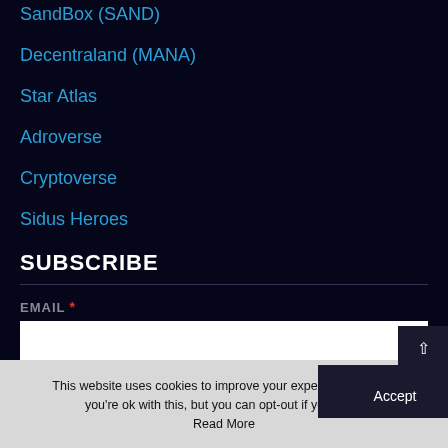SandBox (SAND)
Decentraland (MANA)
Star Atlas
Adroverse
Cryptoverse
Sidus Heroes
SUBSCRIBE
EMAIL *
GDPR AGREEMENT *
This website uses cookies to improve your experience. We'll as you're ok with this, but you can opt-out if you wish. Accept Read More